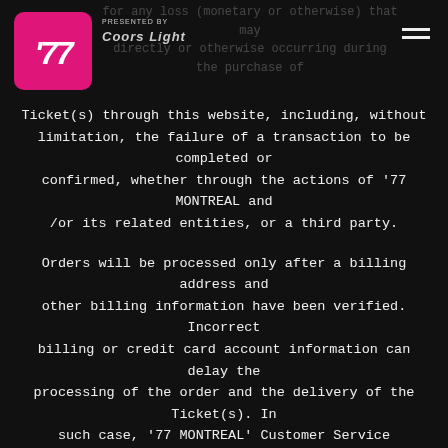77 Montreal - Presented by Coors Light
Ticket(s) through this website, including, without limitation, the failure of a transaction to be completed or confirmed, whether through the actions of '77 MONTREAL and /or its related entities, or a third party.
Orders will be processed only after a billing address and other billing information have been verified. Incorrect billing or credit card account information can delay the processing of the order and the delivery of the Ticket(s). In such case, '77 MONTREAL' Customer Service Department may attempt to contact you, using the information provided at the time of purchase. If '77 MONTREAL is unable to reach you after an initial attempt, it reserves the right to cancel your order and sell your Ticket(s) to another customer.
Obligation to Pay
By accepting the terms of this Agreement, you agree to pay the full price of the Ticket(s) ordered, including any applicable taxes and delivery, convenience and other fees,